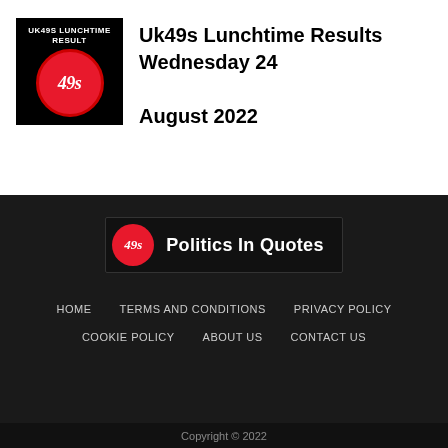[Figure (logo): UK49s Lunchtime Result thumbnail: black background with red circle containing italic '49s' text in white, with 'UK49S LUNCHTIME RESULT' text above]
Uk49s Lunchtime Results Wednesday 24 August 2022
[Figure (logo): 49s Politics In Quotes logo banner: black rectangle with red circle containing '49s' and bold white text 'Politics In Quotes']
HOME
TERMS AND CONDITIONS
PRIVACY POLICY
COOKIE POLICY
ABOUT US
CONTACT US
Copyright © 2022